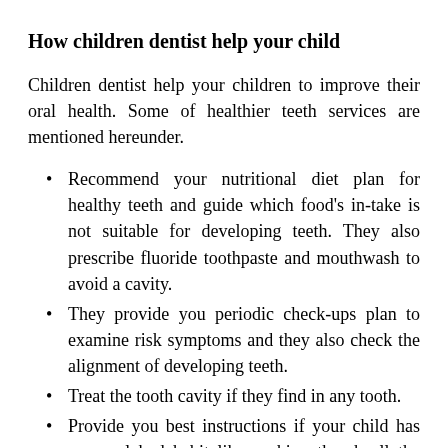How children dentist help your child
Children dentist help your children to improve their oral health. Some of healthier teeth services are mentioned hereunder.
Recommend your nutritional diet plan for healthy teeth and guide which food's in-take is not suitable for developing teeth. They also prescribe fluoride toothpaste and mouthwash to avoid a cavity.
They provide you periodic check-ups plan to examine risk symptoms and they also check the alignment of developing teeth.
Treat the tooth cavity if they find in any tooth.
Provide you best instructions if your child has any oral bad habit like sucking thumb all the time, grinding teeth during sleeping and touching developing teeth again and again with hand or with the tongue.
y provide you with the appropriate